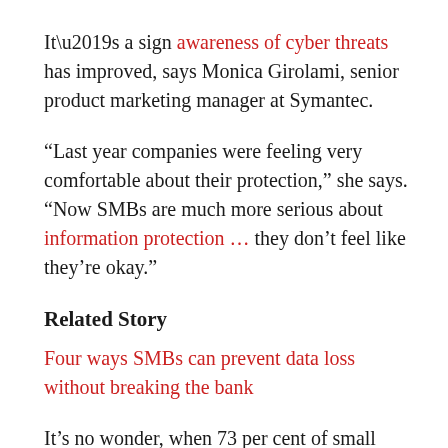It’s a sign awareness of cyber threats has improved, says Monica Girolami, senior product marketing manager at Symantec.
“Last year companies were feeling very comfortable about their protection,” she says. “Now SMBs are much more serious about information protection … they don’t feel like they’re okay.”
Related Story
Four ways SMBs can prevent data loss without breaking the bank
It’s no wonder, when 73 per cent of small firms report seeing some kind of cyber attack over the past year. Canadian firms report that the average firm with 00…